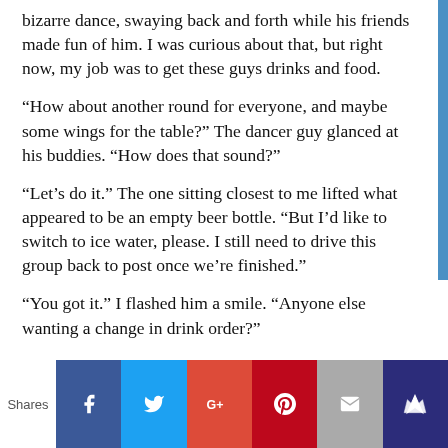bizarre dance, swaying back and forth while his friends made fun of him. I was curious about that, but right now, my job was to get these guys drinks and food.
“How about another round for everyone, and maybe some wings for the table?” The dancer guy glanced at his buddies. “How does that sound?”
“Let’s do it.” The one sitting closest to me lifted what appeared to be an empty beer bottle. “But I’d like to switch to ice water, please. I still need to drive this group back to post once we’re finished.”
“You got it.” I flashed him a smile. “Anyone else wanting a change in drink order?”
“Yeah.” A third man spoke up and tapped the neck of his empty Corona. “I’d like to switch to a Hudson Valley Lightbringer.”
[Figure (infographic): Social sharing buttons bar: Shares label on left, then Facebook (blue), Twitter (light blue), Google+ (red), Pinterest (dark red), Email (grey), Crown/bookmark (dark blue) icon buttons]